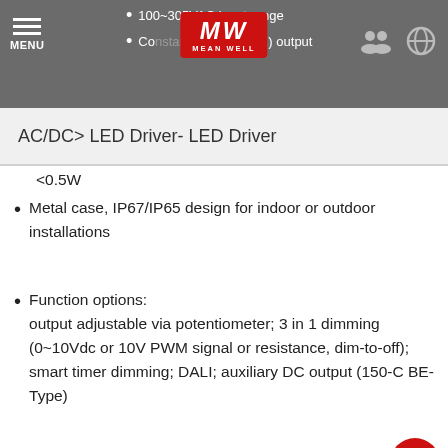MENU | MW MEAN WELL | [icons]
100~305VAC input range
Constant output (C.C.) output
AC/DC> LED Driver- LED Driver
<0.5W
Metal case, IP67/IP65 design for indoor or outdoor installations
Function options: output adjustable via potentiometer; 3 in 1 dimming (0~10Vdc or 10V PWM signal or resistance, dim-to-off); smart timer dimming; DALI; auxiliary DC output (150-C BE-Type)
Type "HL" LED drivers for use in Class I Division 2 hazardous (Classified) locations luminaries
Suitable for LED street lighting and